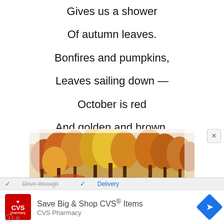Gives us a shower
Of autumn leaves.
Bonfires and pumpkins,
Leaves sailing down —
October is red
And golden and brown.
[Figure (photo): Autumn forest scene with colorful red, orange, and yellow foliage trees]
✓ Drive-through  ✓ Delivery
[Figure (logo): CVS Pharmacy red logo with heart icon]
Save Big & Shop CVS® Items
CVS Pharmacy